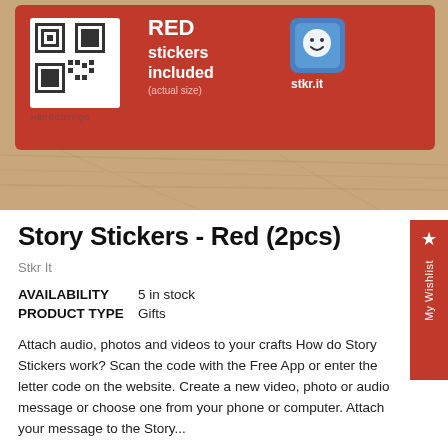[Figure (photo): Product photo showing a red card/package with QR code, text 'RED stickers included (actual size)', stkr.it logo, on a wooden surface]
Story Stickers - Red (2pcs)
Stkr It
AVAILABILITY   5 in stock
PRODUCT TYPE   Gifts
Attach audio, photos and videos to your crafts How do Story Stickers work? Scan the code with the Free App or enter the letter code on the website. Create a new video, photo or audio message or choose one from your phone or computer. Attach your message to the Story...
$3.99